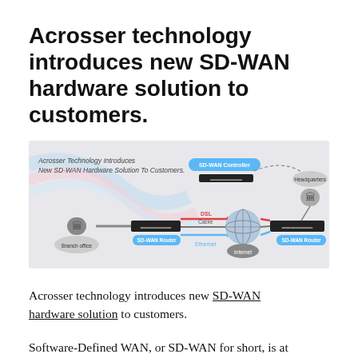Acrosser technology introduces new SD-WAN hardware solution to customers.
[Figure (infographic): SD-WAN network diagram showing Branch office with SD-WAN Router connecting via DSL, Cable, and Ethernet through Internet to Headquarters SD-WAN Router, with SD-WAN Controller above. Text reads: Acrosser Technology Introduces New SD-WAN Hardware Solution To Customers.]
Acrosser technology introduces new SD-WAN hardware solution to customers.
Software-Defined WAN, or SD-WAN for short, is at the leading edge of software-based networking developments. SD-WAN offers significant business